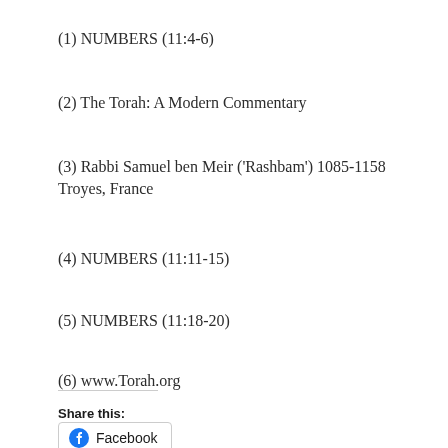(1) NUMBERS (11:4-6)
(2) The Torah: A Modern Commentary
(3) Rabbi Samuel ben Meir ('Rashbam') 1085-1158 Troyes, France
(4) NUMBERS (11:11-15)
(5) NUMBERS (11:18-20)
(6) www.Torah.org
Share this:
Facebook